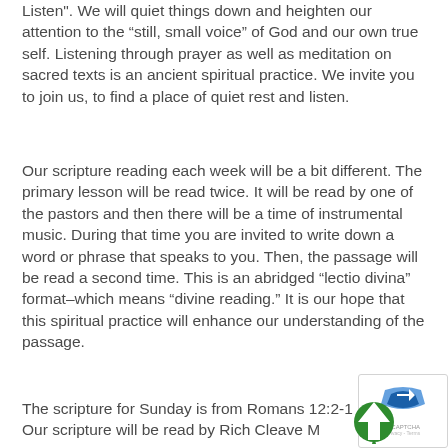Listen". We will quiet things down and heighten our attention to the “still, small voice” of God and our own true self. Listening through prayer as well as meditation on sacred texts is an ancient spiritual practice.   We invite you to join us, to find a place of quiet rest and listen.
Our scripture reading each week will be a bit different.   The primary lesson will be read twice.   It will be read by one of the pastors and then there will be a time of instrumental music.  During that time you are invited to write down a word or phrase that speaks to you.   Then, the passage will be read a second time.  This is an abridged “lectio divina” format–which means “divine reading.”    It is our hope that this spiritual practice will enhance our understanding of the passage.
The scripture for Sunday is from Romans 12:2-1... Our scripture will be read by Rich Cleave M...